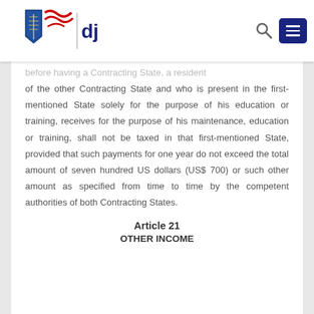[Figure (logo): DJP (Direktorat Jenderal Pajak) logo with shield emblem and red-white ribbon flag decoration, followed by 'djp' text in dark blue]
...before having a Contracting State, a resident of the other Contracting State and who is present in the first-mentioned State solely for the purpose of his education or training, receives for the purpose of his maintenance, education or training, shall not be taxed in that first-mentioned State, provided that such payments for one year do not exceed the total amount of seven hundred US dollars (US$ 700) or such other amount as specified from time to time by the competent authorities of both Contracting States.
Article 21
OTHER INCOME